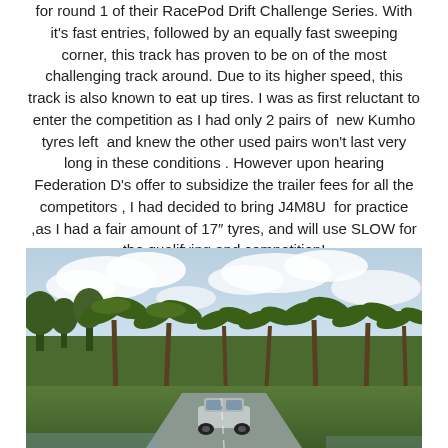for round 1 of their RacePod Drift Challenge Series. With it's fast entries, followed by an equally fast sweeping corner, this track has proven to be on of the most challenging track around. Due to its higher speed, this track is also known to eat up tires. I was as first reluctant to enter the competition as I had only 2 pairs of new Kumho tyres left and knew the other used pairs won't last very long in these conditions . However upon hearing Federation D's offer to subsidize the trailer fees for all the competitors , I had decided to bring J4M8U for practice ,as I had a fair amount of 17″ tyres, and will use SLOW for the qualifying and competition!
[Figure (photo): A car on a race track with palm trees and a cloudy sky in the background. The scene appears to be at a drift competition venue in a tropical setting.]